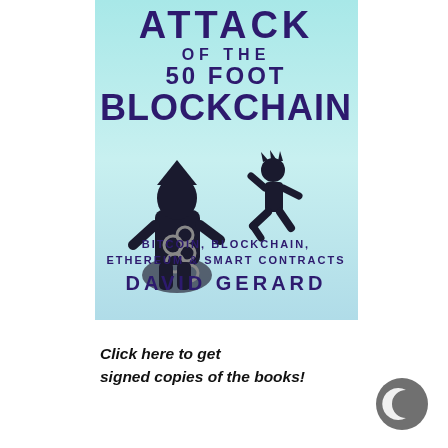[Figure (illustration): Book cover for 'Attack of the 50 Foot Blockchain' by David Gerard. Teal/mint gradient background. Title text in dark purple: 'ATTACK OF THE 50 FOOT BLOCKCHAIN'. Silhouette illustration of a large chained monster figure and a small running human. Subtitle: 'Bitcoin, Blockchain, Ethereum & Smart Contracts'. Author: 'David Gerard'.]
Click here to get signed copies of the books!
[Figure (logo): Dark gray crescent moon icon in a circle, representing a night/dark mode button.]